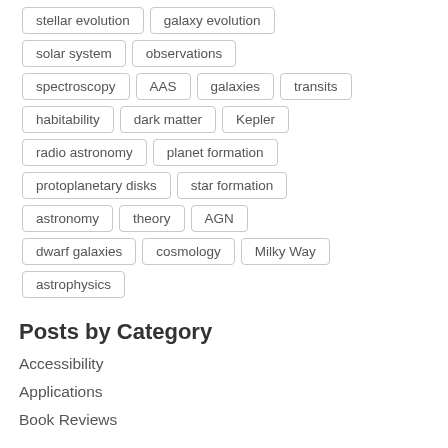stellar evolution
galaxy evolution
solar system
observations
spectroscopy
AAS
galaxies
transits
habitability
dark matter
Kepler
radio astronomy
planet formation
protoplanetary disks
star formation
astronomy
theory
AGN
dwarf galaxies
cosmology
Milky Way
astrophysics
Posts by Category
Accessibility
Applications
Book Reviews